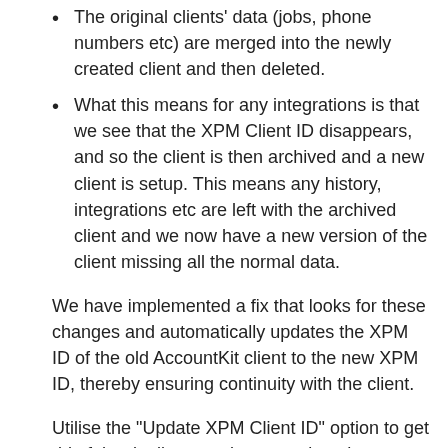The original clients' data (jobs, phone numbers etc) are merged into the newly created client and then deleted.
What this means for any integrations is that we see that the XPM Client ID disappears, and so the client is then archived and a new client is setup. This means any history, integrations etc are left with the archived client and we now have a new version of the client missing all the normal data.
We have implemented a fix that looks for these changes and automatically updates the XPM ID of the old AccountKit client to the new XPM ID, thereby ensuring continuity with the client.
Utilise the "Update XPM Client ID" option to get rid of the duplicate and re-associate the correct client in AccountKit with the new version of the client in XPM by